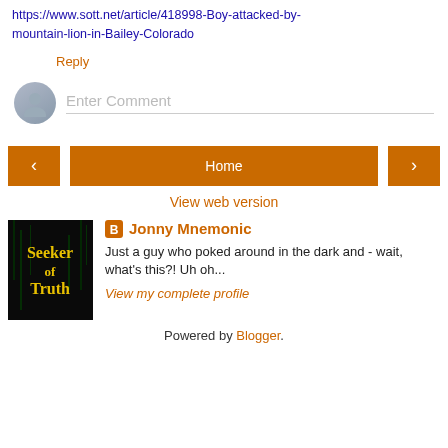https://www.sott.net/article/418998-Boy-attacked-by-mountain-lion-in-Bailey-Colorado
Reply
Enter Comment
< Home >
View web version
[Figure (photo): Blog thumbnail image showing 'Seeker of Truth' text on dark matrix-style background]
Jonny Mnemonic
Just a guy who poked around in the dark and - wait, what's this?! Uh oh...
View my complete profile
Powered by Blogger.